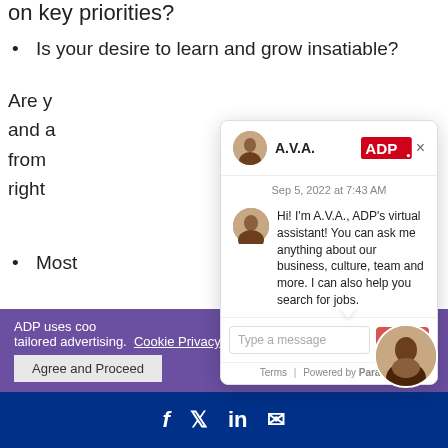on key priorities?
Is your desire to learn and grow insatiable?
Are y... and a... from... right...
Most...
[Figure (screenshot): ADP A.V.A. virtual assistant chat widget showing a conversation dated Sep 5, 2022 at 7:43 AM. The chat bubble reads: Hi! I'm A.V.A., ADP's virtual assistant! You can ask me anything about our business, culture, team and more. I can also help you search for jobs. Bottom has a message input field with Send button, Terms and Powered by Paradox footer.]
ADP uses coo... tailored advertising. Cookie Privacy Statement Set Your Preferences
Agree and Proceed
[Figure (other): Social media icons bar (Facebook, Twitter, LinkedIn, Email) on dark blue background]